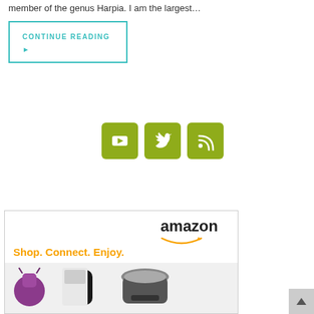member of the genus Harpia. I am the largest…
CONTINUE READING ▶
[Figure (illustration): Three olive-green social media icon buttons: YouTube, Twitter, and RSS feed icons on square rounded buttons]
[Figure (illustration): Amazon advertisement banner showing amazon logo, 'Shop. Connect. Enjoy.' tagline in orange, and product images including bags, electronics, and kitchen appliances]